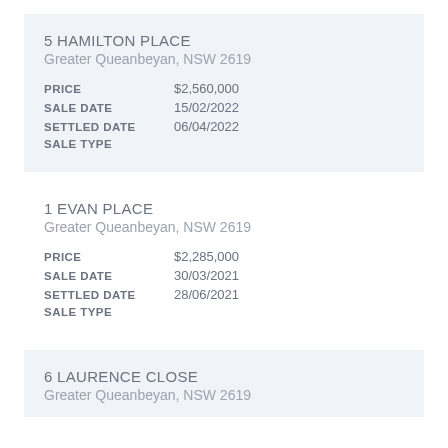5 HAMILTON PLACE
Greater Queanbeyan, NSW 2619
| Field | Value |
| --- | --- |
| PRICE | $2,560,000 |
| SALE DATE | 15/02/2022 |
| SETTLED DATE | 06/04/2022 |
| SALE TYPE |  |
1 EVAN PLACE
Greater Queanbeyan, NSW 2619
| Field | Value |
| --- | --- |
| PRICE | $2,285,000 |
| SALE DATE | 30/03/2021 |
| SETTLED DATE | 28/06/2021 |
| SALE TYPE |  |
6 LAURENCE CLOSE
Greater Queanbeyan, NSW 2619